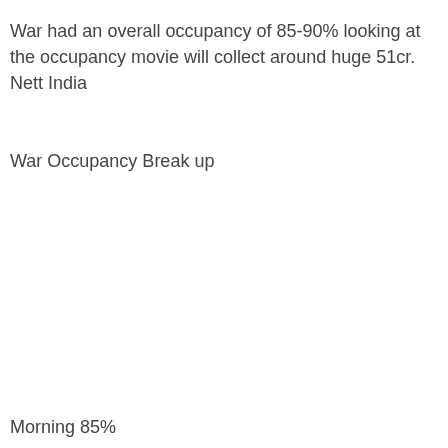War had an overall occupancy of 85-90% looking at the occupancy movie will collect around huge 51cr. Nett India
War Occupancy Break up
Morning 85%